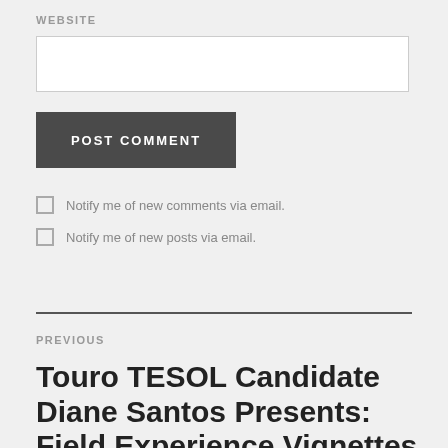WEBSITE
POST COMMENT
Notify me of new comments via email.
Notify me of new posts via email.
PREVIOUS
Touro TESOL Candidate Diane Santos Presents: Field Experience Vignettes for EDPN